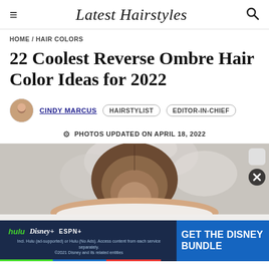Latest Hairstyles
HOME / HAIR COLORS
22 Coolest Reverse Ombre Hair Color Ideas for 2022
CINDY MARCUS  HAIRSTYLIST  EDITOR-IN-CHIEF
PHOTOS UPDATED ON APRIL 18, 2022
[Figure (photo): Woman photographed from behind showing reverse ombre hair color, dark at roots fading to lighter ends]
[Figure (infographic): Disney Bundle advertisement banner with Hulu, Disney+, ESPN+ logos and 'GET THE DISNEY BUNDLE' call to action. Includes fine print: Incl. Hulu (ad-supported) or Hulu (No Ads). Access content from each service separately. ©2021 Disney and its related entities]